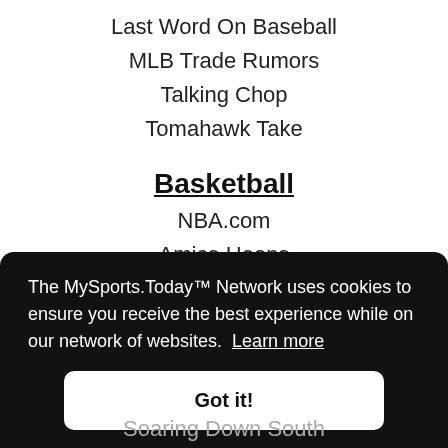Last Word On Baseball
MLB Trade Rumors
Talking Chop
Tomahawk Take
Basketball
NBA.com
Amico Hoops
Basketball Insiders
High Post Hoops
The MySports.Today™ Network uses cookies to ensure you receive the best experience while on our network of websites. Learn more
Soaring Down South